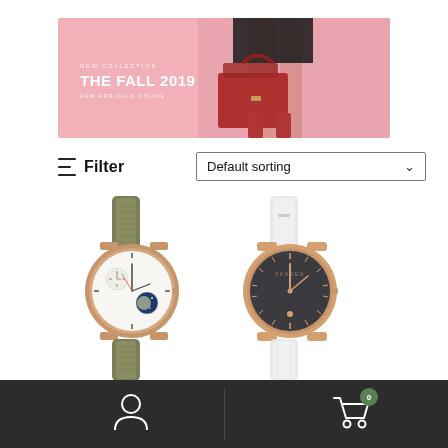[Figure (photo): Fashion banner showing THE FALL 2019 new collection text overlaid on a pink background with a model holding a red handbag and wearing heels]
≡  Filter
Default sorting ∨
[Figure (photo): Rose gold watch with olive green fabric strap and white dial showing moon phase complication]
[Figure (photo): Rose gold watch with white leather strap and dark grey/charcoal dial with minimal design]
[Figure (other): Bottom navigation bar with dark background showing user account icon on left and shopping cart icon with green badge showing 0 on right]